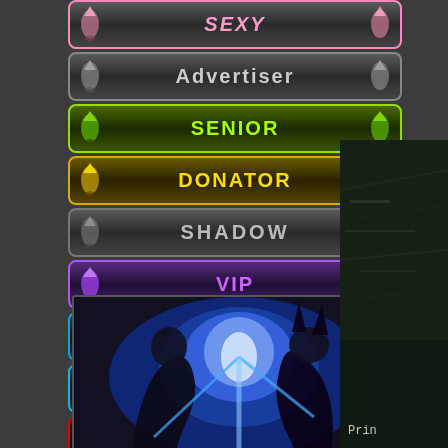[Figure (illustration): Badge button labeled SEXY with pink text and decorative icons on dark background]
[Figure (illustration): Badge button labeled Advertiser with gray text and decorative icons on dark background]
[Figure (illustration): Badge button labeled SENIOR with green text and decorative icons on dark green background]
[Figure (illustration): Badge button labeled DONATOR with yellow text and decorative icons on dark yellow background]
[Figure (illustration): Badge button labeled SHADOW with light gray text and decorative icons on dark background]
[Figure (illustration): Badge button labeled VIP with purple text and decorative icons on dark purple background]
[Figure (illustration): Badge button labeled MOD with cyan text and decorative icons on dark blue background]
[Figure (illustration): Badge button labeled S.MOD with cyan text and decorative icons on dark blue background]
[Figure (illustration): Badge button labeled GOD with red text and decorative icons on dark red background]
[Figure (illustration): Action game artwork showing a character with blue energy effects against dark background]
[Figure (illustration): OFFLINE status indicator with red dot]
Join Date : Dec 2010
[Figure (screenshot): Right side panel showing green-tinted game screenshot with text Prin]